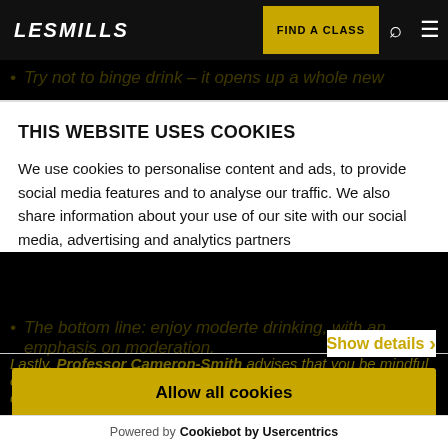[Figure (screenshot): LesMills website navigation bar with logo, FIND A CLASS button, search and menu icons]
Try not to binge drink – it opens up a whole new
THIS WEBSITE USES COOKIES
We use cookies to personalise content and ads, to provide social media features and to analyse our traffic. We also share information about your use of our site with our social media, advertising and analytics partners
Show details ›
Allow all cookies
Customize ›
Lastly, Professor Cameron-Smith advises that you be mindful of how alcohol impacts your exercise efforts. When you exercise, the repair and re-synthesis processes take several hours to days. Alcohol's dehydrating effects also impair, further compromise our ability to replenish the glycogen...
directly interferes with the protein synthesis pathways in
Powered by Cookiebot by Usercentrics